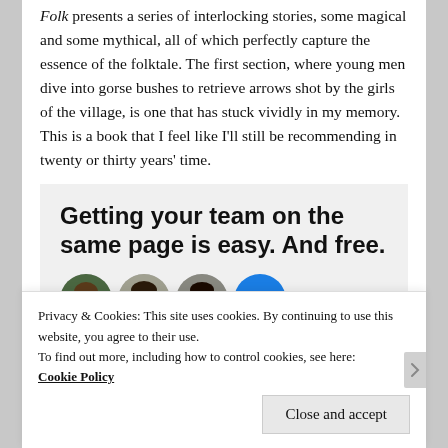Folk presents a series of interlocking stories, some magical and some mythical, all of which perfectly capture the essence of the folktale. The first section, where young men dive into gorse bushes to retrieve arrows shot by the girls of the village, is one that has stuck vividly in my memory. This is a book that I feel like I'll still be recommending in twenty or thirty years' time.
[Figure (infographic): Advertisement banner with text 'Getting your team on the same page is easy. And free.' and row of four avatar photos including a blue circle with a plus sign.]
Privacy & Cookies: This site uses cookies. By continuing to use this website, you agree to their use.
To find out more, including how to control cookies, see here: Cookie Policy